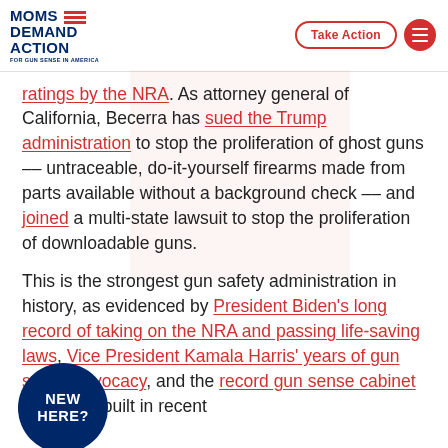[Figure (logo): Moms Demand Action for Gun Sense in America logo with Take Action button and hamburger menu]
ratings by the NRA. As attorney general of California, Becerra has sued the Trump administration to stop the proliferation of ghost guns -- untraceable, do-it-yourself firearms made from parts available without a background check -- and joined a multi-state lawsuit to stop the proliferation of downloadable guns.
This is the strongest gun safety administration in history, as evidenced by President Biden’s long record of taking on the NRA and passing life-saving laws, Vice President Kamala Harris’ years of gun safety advocacy, and the record gun sense cabinet they have built in recent